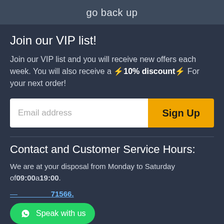go back up
Join our VIP list!
Join our VIP list and you will receive new offers each week. You will also receive a ⚡10% discount⚡ For your next order!
[Figure (screenshot): Email address input field and Sign Up button]
Contact and Customer Service Hours:
We are at your disposal from Monday to Saturday of09:00a19:00.
71566.
[Figure (other): WhatsApp Speak with us button]
Email: support@bronmart.com.